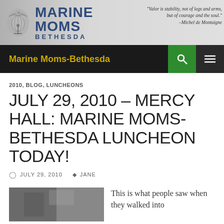[Figure (screenshot): Marine Moms Bethesda website header banner with logo (eagle globe anchor emblem), site name in bold blue text, and an italic quote on the right: 'Valor is stability, not of legs and arms, but of courage and the soul.' -Michel de Montaigne]
Marine Moms-Bethesda
2010, BLOG, LUNCHEONS
JULY 29, 2010 – MERCY HALL: MARINE MOMS-BETHESDA LUNCHEON TODAY!
JULY 29, 2010  JANE
[Figure (photo): Photo of a decorated table or room interior, partially visible at bottom left of page]
This is what people saw when they walked into